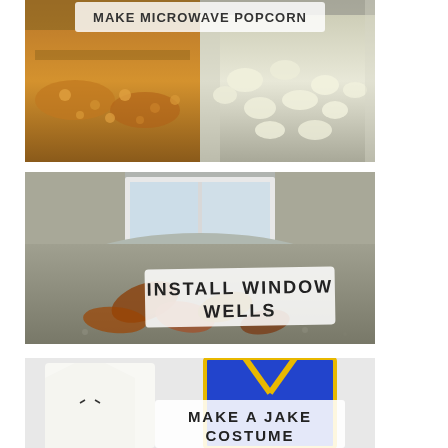[Figure (photo): Two side-by-side photos: left shows raw popcorn kernels in a pan, right shows popped popcorn in a bag. Text overlay at top reads 'MAKE MICROWAVE POPCORN' (partially visible).]
[Figure (photo): Photo of a metal window well installed against a house foundation with leaves inside. White banner overlay reads 'INSTALL WINDOW WELLS'.]
[Figure (photo): Photo showing a white t-shirt with drawn face and a blue/yellow vest costume. White banner overlay reads 'MAKE A JAKE COSTUME'.]